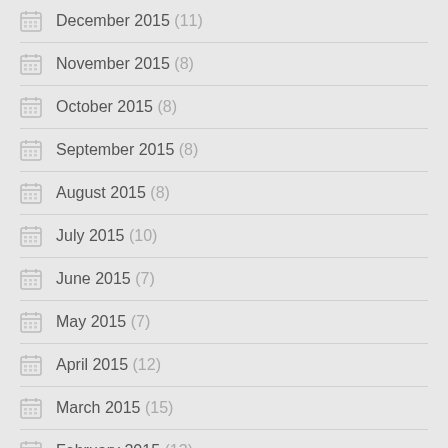December 2015 (11)
November 2015 (8)
October 2015 (8)
September 2015 (8)
August 2015 (8)
July 2015 (10)
June 2015 (7)
May 2015 (7)
April 2015 (12)
March 2015 (15)
February 2015 (13)
January 2015 (16)